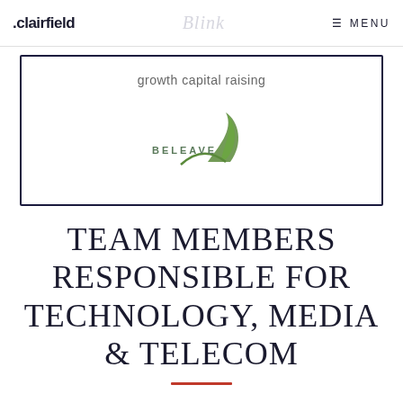.clairfield | Blink | MENU
growth capital raising
[Figure (logo): Beleave logo with green leaf graphic and stylized text reading BELEAVE]
TEAM MEMBERS RESPONSIBLE FOR TECHNOLOGY, MEDIA & TELECOM